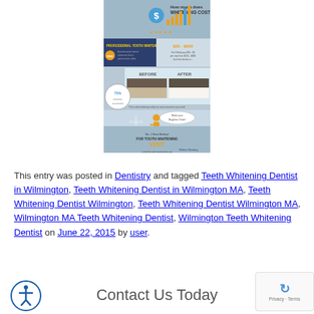[Figure (infographic): A dental teeth whitening infographic showing cost information ($35-$800), before/after photos of teeth, professional tooth whitening information, and a call to action to visit for tooth whitening treatment.]
This entry was posted in Dentistry and tagged Teeth Whitening Dentist in Wilmington, Teeth Whitening Dentist in Wilmington MA, Teeth Whitening Dentist Wilmington, Teeth Whitening Dentist Wilmington MA, Wilmington MA Teeth Whitening Dentist, Wilmington Teeth Whitening Dentist on June 22, 2015 by user.
Contact Us Today